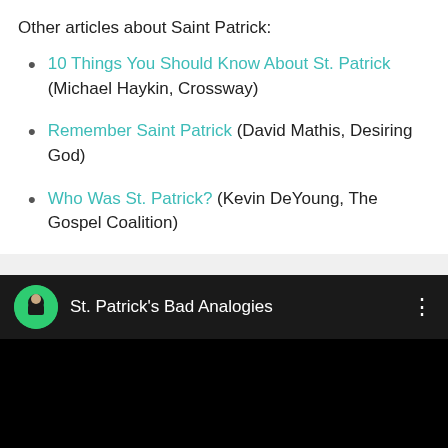Other articles about Saint Patrick:
10 Things You Should Know About St. Patrick (Michael Haykin, Crossway)
Remember Saint Patrick (David Mathis, Desiring God)
Who Was St. Patrick? (Kevin DeYoung, The Gospel Coalition)
[Figure (screenshot): YouTube video embed with black background showing 'St. Patrick's Bad Analogies' with a green circular channel avatar featuring a portrait illustration, and a three-dot menu icon on the right.]